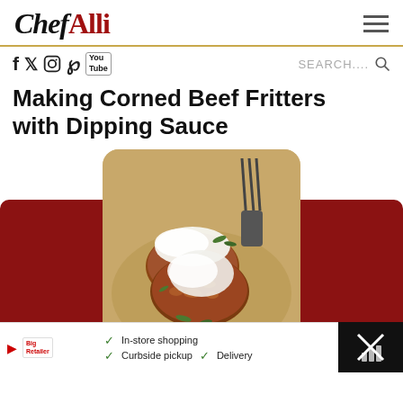Chef Alli
Making Corned Beef Fritters with Dipping Sauce
[Figure (photo): Breaded corned beef fritters topped with creamy white dipping sauce, served on a decorative plate with greenery, with fork visible in background]